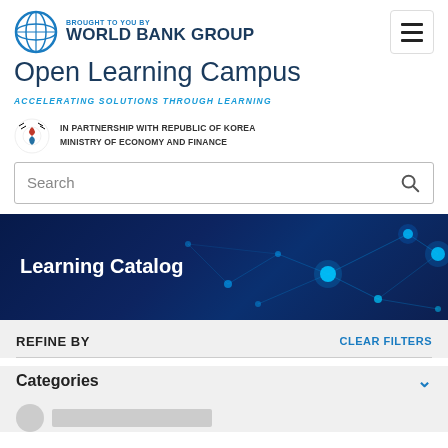BROUGHT TO YOU BY WORLD BANK GROUP
Open Learning Campus
ACCELERATING SOLUTIONS THROUGH LEARNING
IN PARTNERSHIP WITH REPUBLIC OF KOREA MINISTRY OF ECONOMY AND FINANCE
Search
[Figure (screenshot): Learning Catalog banner with dark navy background and blue glowing network/nodes graphic on the right side]
REFINE BY
CLEAR FILTERS
Categories